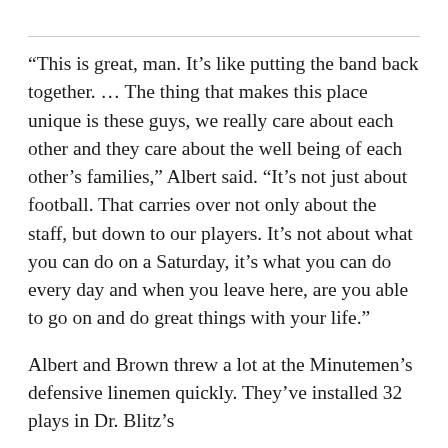“This is great, man. It’s like putting the band back together. … The thing that makes this place unique is these guys, we really care about each other and they care about the well being of each other’s families,” Albert said. “It’s not just about football. That carries over not only about the staff, but down to our players. It’s not about what you can do on a Saturday, it’s what you can do every day and when you leave here, are you able to go on and do great things with your life.”
Albert and Brown threw a lot at the Minutemen’s defensive linemen quickly. They’ve installed 32 plays in Dr. Blitz’s